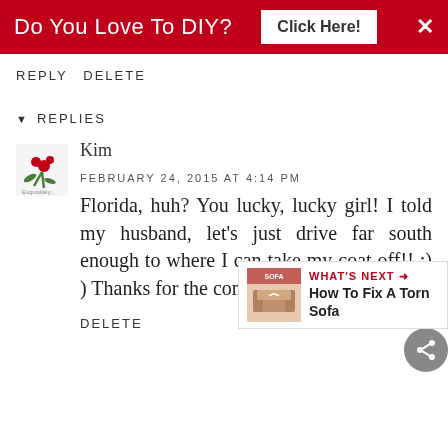Do You Love To DIY?  Click Here!  ×
REPLY  DELETE
▼  REPLIES
Kim
FEBRUARY 24, 2015 AT 4:14 PM
Florida, huh? You lucky, lucky girl! I told my husband, let's just drive far south enough to where I can take my coat off!! ;) ) Thanks for the comment, Vanessa!!
DELETE
[Figure (infographic): What's Next panel showing 'How To Fix A Torn Sofa' with thumbnail]
[Figure (logo): Small floral avatar logo for Kim]